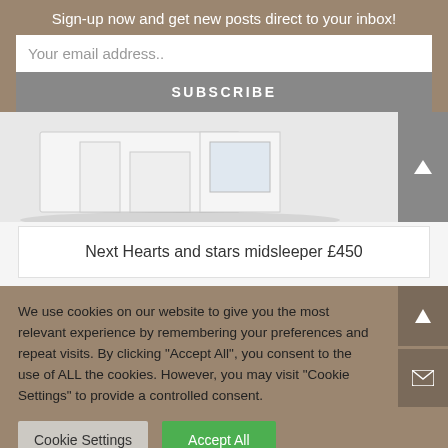Sign-up now and get new posts direct to your inbox!
Your email address..
SUBSCRIBE
[Figure (photo): White midsleeper bed furniture product photo]
Next Hearts and stars midsleeper £450
We use cookies on our website to give you the most relevant experience by remembering your preferences and repeat visits. By clicking "Accept All", you consent to the use of ALL the cookies. However, you may visit "Cookie Settings" to provide a controlled consent.
Cookie Settings
Accept All